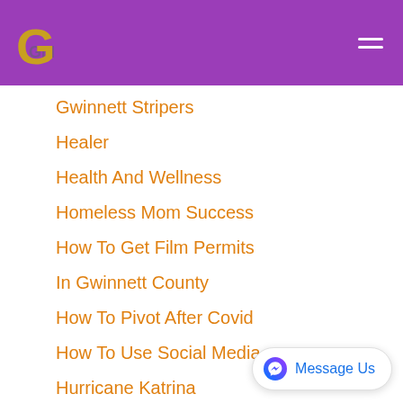GMG logo with navigation menu
Gwinnett Stripers
Healer
Health And Wellness
Homeless Mom Success
How To Get Film Permits
In Gwinnett County
How To Pivot After Covid
How To Use Social Media
Hurricane Katrina
Introverts
Intuitive
Investor
Jerrilynn B. Thomas
[Figure (other): Message Us button with Facebook Messenger icon]